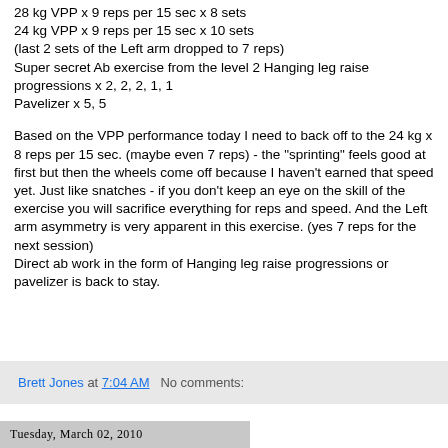28 kg VPP x 9 reps per 15 sec x 8 sets
24 kg VPP x 9 reps per 15 sec x 10 sets
(last 2 sets of the Left arm dropped to 7 reps)
Super secret Ab exercise from the level 2 Hanging leg raise progressions x 2, 2, 2, 1, 1
Pavelizer x 5, 5
Based on the VPP performance today I need to back off to the 24 kg x 8 reps per 15 sec. (maybe even 7 reps) - the "sprinting" feels good at first but then the wheels come off because I haven't earned that speed yet. Just like snatches - if you don't keep an eye on the skill of the exercise you will sacrifice everything for reps and speed. And the Left arm asymmetry is very apparent in this exercise. (yes 7 reps for the next session)
Direct ab work in the form of Hanging leg raise progressions or pavelizer is back to stay.
Brett Jones at 7:04 AM   No comments:
Tuesday, March 02, 2010